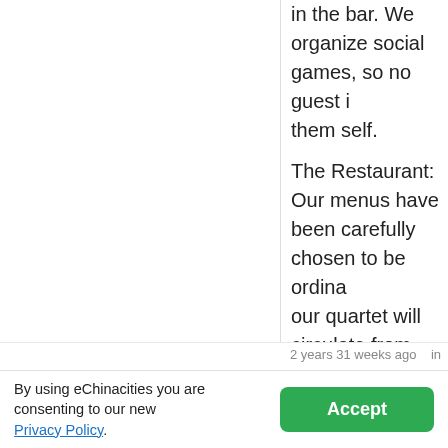in the bar. We organize social games, so no guest is left to them self.
The Restaurant:
Our menus have been carefully chosen to be ordina... our quartet will circulate from table to table, and fidd...
Your Room:
Every room has excellent facilities for your private p... on heat. Each room has a balcony offering views of... will not be disturbed by traffic noise, since the road... lake is used only by pederasts.
Bed:
Your bed has been made in accordance with local t... ideas please ring for the chambermaid. Please take... be very pleased to squash your shirts, blouses and... also squeeze your trousers.
Above All:
When you leave us at the end of your holiday, you w... struggle to forget it.
2 years 31 weeks ago   in  Transport & Travel  China
By using eChinacities you are consenting to our new Privacy Policy.
Accept